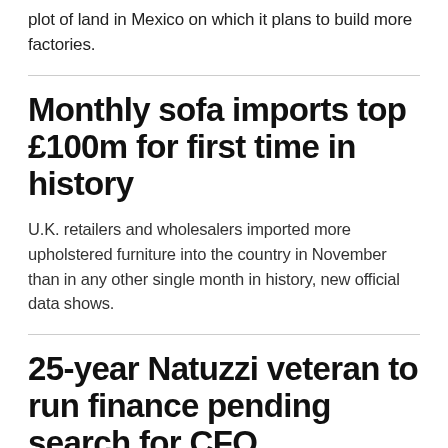plot of land in Mexico on which it plans to build more factories.
Monthly sofa imports top £100m for first time in history
U.K. retailers and wholesalers imported more upholstered furniture into the country in November than in any other single month in history, new official data shows.
25-year Natuzzi veteran to run finance pending search for CFO successor
Italian upholstered furniture conglomerate Natuzzi